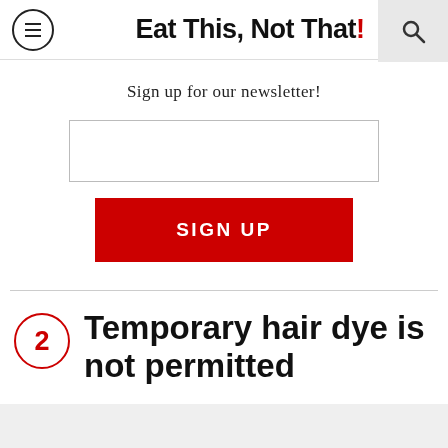Eat This, Not That!
Sign up for our newsletter!
[Figure (other): Email input text field (empty)]
SIGN UP
2 Temporary hair dye is not permitted